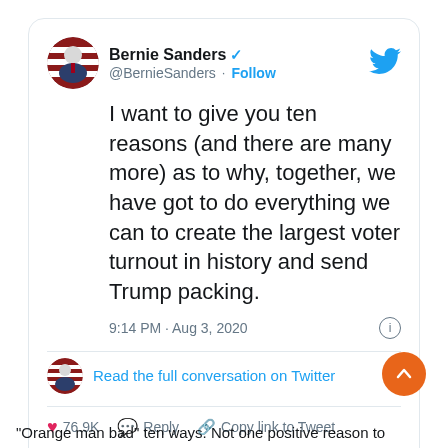[Figure (screenshot): A Twitter/X embedded tweet from Bernie Sanders (@BernieSanders) with verified checkmark. Tweet text: 'I want to give you ten reasons (and there are many more) as to why, together, we have got to do everything we can to create the largest voter turnout in history and send Trump packing.' Timestamp: 9:14 PM · Aug 3, 2020. Likes: 76.9K. Actions: Reply, Copy link to Tweet. Read 2.1K replies button.]
“Orange man bad” ten ways. Not one positive reason to